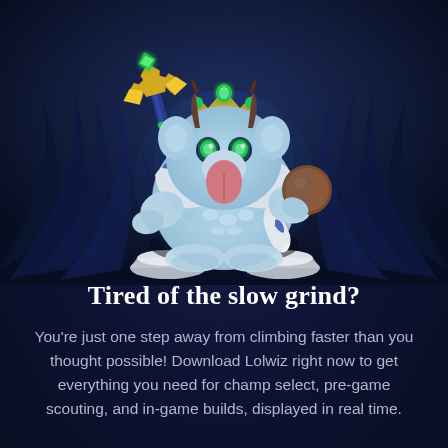[Figure (illustration): A 3D rendered chibi-style fantasy character (Poro or similar creature) wearing a golden crown, holding a blue and gold staff with green gems, wrapped in a white and blue striped scarf with red dots, pink tongue sticking out, surrounded by dark blue feathery or leaf shapes, standing on two small grey stone platforms.]
Tired of the slow grind?
You’re just one step away from climbing faster than you thought possible! Download Lolwiz right now to get everything you need for champ select, pre-game scouting, and in-game builds, displayed in real time.